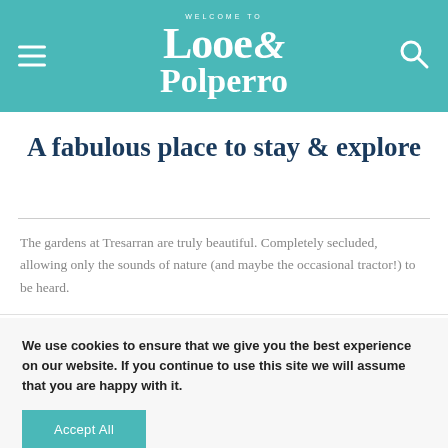Welcome to Looe & Polperro
A fabulous place to stay & explore
The gardens at Tresarran are truly beautiful. Completely secluded, allowing only the sounds of nature (and maybe the occasional tractor!) to be heard.
We use cookies to ensure that we give you the best experience on our website. If you continue to use this site we will assume that you are happy with it.